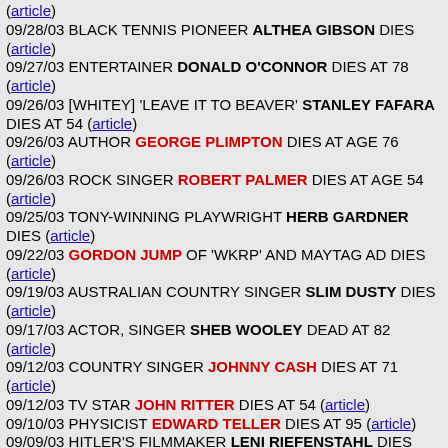(article)
09/28/03 BLACK TENNIS PIONEER ALTHEA GIBSON DIES (article)
09/27/03 ENTERTAINER DONALD O'CONNOR DIES AT 78 (article)
09/26/03 [WHITEY] 'LEAVE IT TO BEAVER' STANLEY FAFARA DIES AT 54 (article)
09/26/03 AUTHOR GEORGE PLIMPTON DIES AT AGE 76 (article)
09/26/03 ROCK SINGER ROBERT PALMER DIES AT AGE 54 (article)
09/25/03 TONY-WINNING PLAYWRIGHT HERB GARDNER DIES (article)
09/22/03 GORDON JUMP OF 'WKRP' AND MAYTAG AD DIES (article)
09/19/03 AUSTRALIAN COUNTRY SINGER SLIM DUSTY DIES (article)
09/17/03 ACTOR, SINGER SHEB WOOLEY DEAD AT 82 (article)
09/12/03 COUNTRY SINGER JOHNNY CASH DIES AT 71 (article)
09/12/03 TV STAR JOHN RITTER DIES AT 54 (article)
09/10/03 PHYSICIST EDWARD TELLER DIES AT 95 (article)
09/09/03 HITLER'S FILMMAKER LENI RIEFENSTAHL DIES (article)
09/08/03 SINGER AND SONGWRITER WARREN ZEVON ...